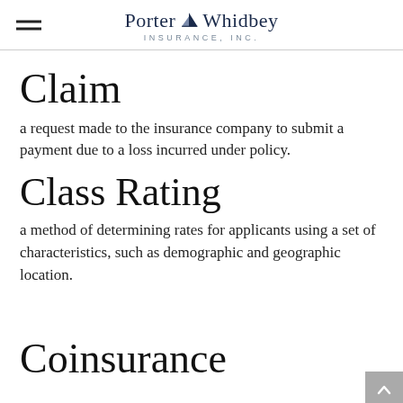Porter Whidbey Insurance, Inc.
Claim
a request made to the insurance company to submit a payment due to a loss incurred under policy.
Class Rating
a method of determining rates for applicants using a set of characteristics, such as demographic and geographic location.
Coinsurance